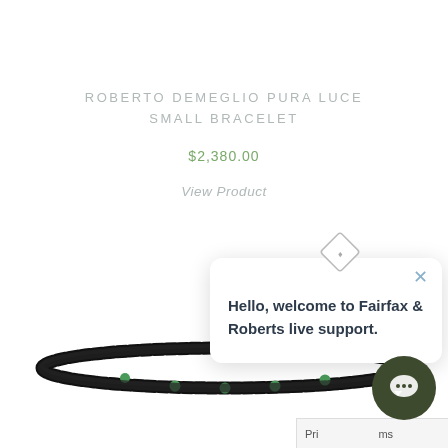ROBERTO DEMEGLIO PURA LUCE SMALL BRACELET
$2,380.00
View Product
[Figure (photo): Black beaded bracelet with green accent beads, photographed on white background]
[Figure (screenshot): Chat popup widget with diamond logo icon and text: Hello, welcome to Fairfax & Roberts live support.]
[Figure (other): Dark olive green chat bubble button in bottom right corner]
Pri... ms